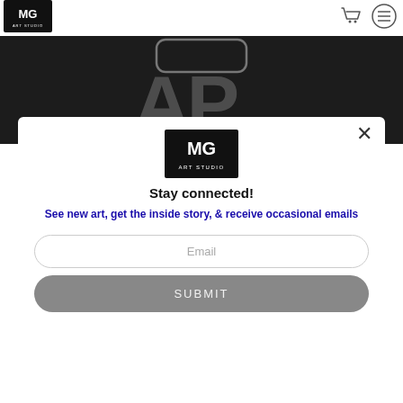[Figure (logo): MG Art Studio logo in top-left nav bar]
[Figure (logo): Shopping cart icon in top nav]
[Figure (logo): Hamburger menu icon in top nav]
[Figure (screenshot): Dark banner area showing partial 'AP' stylized logo in grey on black background]
[Figure (logo): MG Art Studio logo centered in modal popup]
Stay connected!
See new art, get the inside story, & receive occasional emails
Email
SUBMIT